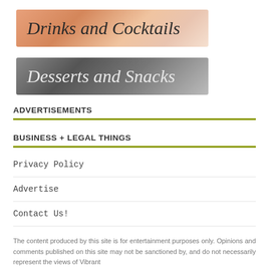[Figure (photo): Banner image with cursive text 'Drinks and Cocktails' on a warm orange-pink background with drink imagery]
[Figure (photo): Banner image with cursive text 'Desserts and Snacks' on a dark gray background with bowl/cup imagery]
ADVERTISEMENTS
BUSINESS + LEGAL THINGS
Privacy Policy
Advertise
Contact Us!
The content produced by this site is for entertainment purposes only. Opinions and comments published on this site may not be sanctioned by, and do not necessarily represent the views of Vibrant